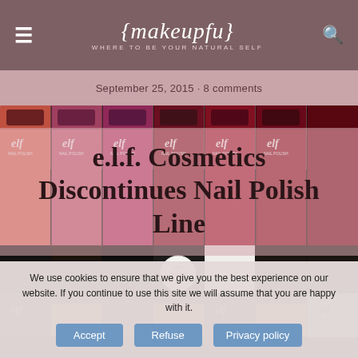makeupfu — where to be your natural self
September 25, 2015 · 8 comments
e.l.f. Cosmetics Discontinues Nail Polish Line
[Figure (photo): Multiple e.l.f. nail polish bottles arranged in a row, showing various colors from pink to red to dark, with black caps, photographed on a dark background]
We use cookies to ensure that we give you the best experience on our website. If you continue to use this site we will assume that you are happy with it.
Accept   Refuse   Privacy policy